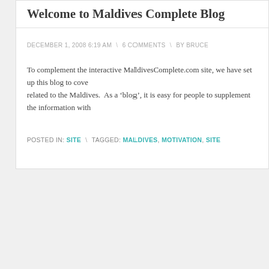Welcome to Maldives Complete Blog
DECEMBER 1, 2008 6:19 AM  \  6 COMMENTS  \  BY BRUCE
To complement the interactive MaldivesComplete.com site, we have set up this blog to cover related to the Maldives.  As a ‘blog’, it is easy for people to supplement the information with
POSTED IN: SITE  \  TAGGED: MALDIVES, MOTIVATION, SITE